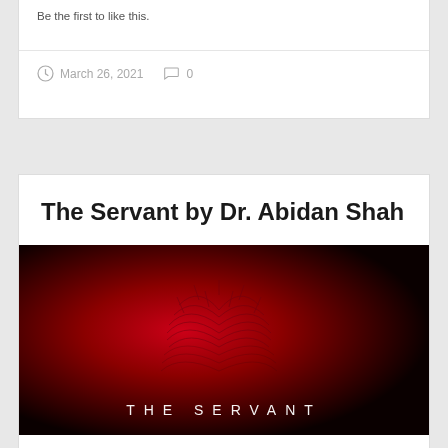Be the first to like this.
March 26, 2021  0
The Servant by Dr. Abidan Shah
[Figure (illustration): Dark red/crimson themed image with crown of thorns graphic and 'THE SERVANT' text overlay in white spaced letters at the bottom]